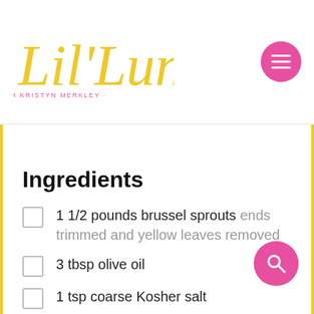Lil' Luna · with Kristyn Merkley
Ingredients
1 1/2 pounds brussel sprouts ends trimmed and yellow leaves removed
3 tbsp olive oil
1 tsp coarse Kosher salt
1/2 tsp pepper